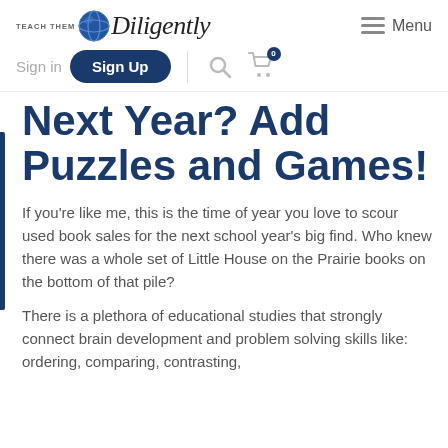[Figure (logo): Teach Them Diligently logo with globe icon and script text]
Menu
Sign in   Sign Up
Next Year? Add Puzzles and Games!
If you’re like me, this is the time of year you love to scour used book sales for the next school year’s big find. Who knew there was a whole set of Little House on the Prairie books on the bottom of that pile?
There is a plethora of educational studies that strongly connect brain development and problem solving skills like: ordering, comparing, contrasting,